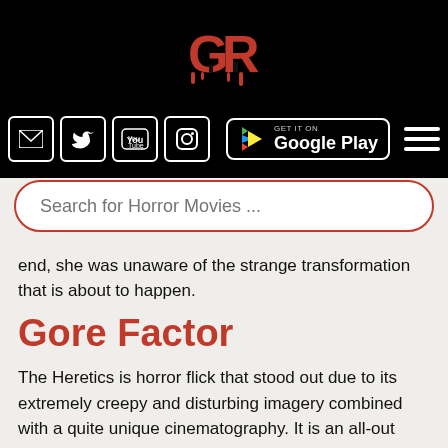[Figure (logo): GR horror website logo in red on black background]
[Figure (infographic): Navigation row with social media icons (email, Twitter, YouTube, Instagram), Google Play button, and hamburger menu on black background]
[Figure (infographic): Search bar with placeholder text 'Search for Horror Movies ...' with red border on light background]
end, she was unaware of the strange transformation that is about to happen.
Gore Factor
The Heretics is horror flick that stood out due to its extremely creepy and disturbing imagery combined with a quite unique cinematography. It is an all-out gory. The movie is dirty and horrible and like most horror films should look. There are a lot of terrifying figures, realistic bruises